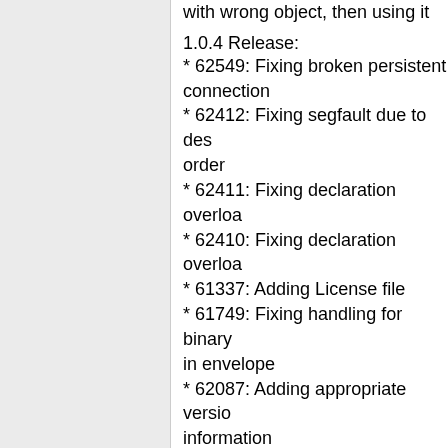with wrong object, then using it
1.0.4 Release:
* 62549: Fixing broken persistent connection
* 62412: Fixing segfault due to des order
* 62411: Fixing declaration overlo
* 62410: Fixing declaration overlo
* 61337: Adding License file
* 61749: Fixing handling for binary in envelope
* 62087: Adding appropriate versio information
* 62354: Enabling debugging dum objects
* 61351: Updating min PHP versio requirements to 5.2.0
1.0.3 Release:
* Fixing compilation issue with PH
1.0.2 Release:
Fixed bug:
* Memory leak when using AMQPQueue::get from a queue w messages